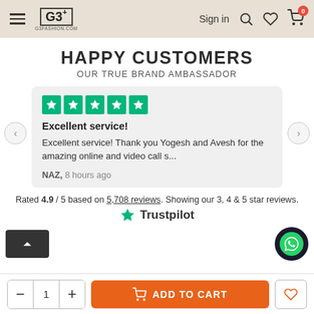G3+ G3FASHION.COM | Sign in | Search | Wishlist | Cart (0)
HAPPY CUSTOMERS
OUR TRUE BRAND AMBASSADOR
Excellent service!

Excellent service! Thank you Yogesh and Avesh for the amazing online and video call s...

NAZ, 8 hours ago
Rated 4.9 / 5 based on 5,708 reviews. Showing our 3, 4 & 5 star reviews.
Trustpilot
ADD TO CART